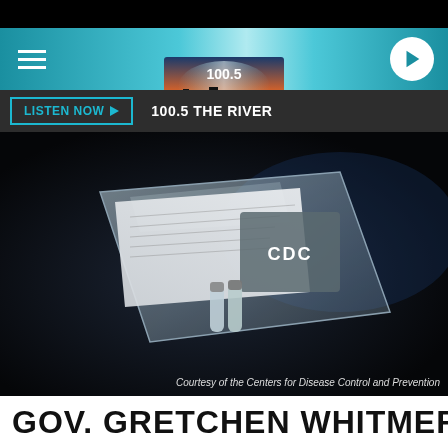[Figure (logo): 100.5 The River radio station logo with city skyline silhouette and orange/sunset background]
LISTEN NOW ▶  100.5 THE RIVER
[Figure (photo): CDC coronavirus test kit in a clear plastic zip-lock bag, with specimen tubes and paperwork visible]
Courtesy of the Centers for Disease Control and Prevention
GOV. GRETCHEN WHITMER